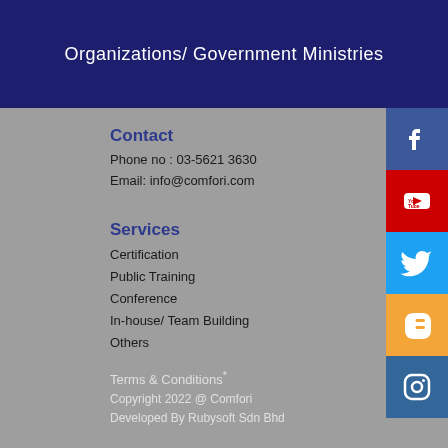Organizations/ Government Ministries
Contact
Phone no : 03-5621 3630
Email: info@comfori.com
Services
Certification
Public Training
Conference
In-house/ Team Building
Others
Terms & Conditions*
Copyright 2022 @ Comfori
Developed By Rubysoft Sdn Bhd